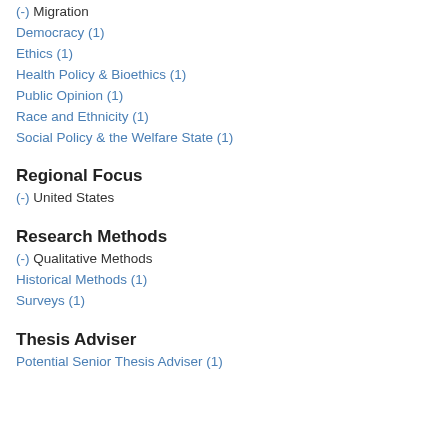(-) Migration
Democracy (1)
Ethics (1)
Health Policy & Bioethics (1)
Public Opinion (1)
Race and Ethnicity (1)
Social Policy & the Welfare State (1)
Regional Focus
(-) United States
Research Methods
(-) Qualitative Methods
Historical Methods (1)
Surveys (1)
Thesis Adviser
Potential Senior Thesis Adviser (1)